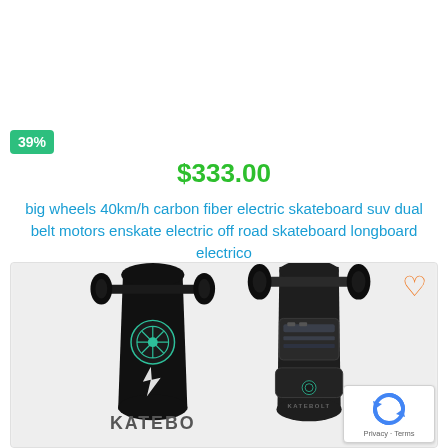39%
$333.00
big wheels 40km/h carbon fiber electric skateboard suv dual belt motors enskate electric off road skateboard longboard electrico
[Figure (photo): Product listing photo showing two views of a KATEBOLT black electric longboard skateboard — top/left view showing deck surface with lightning bolt logo and KATEBO branding, and bottom/right view showing the underside with battery enclosure and wheel trucks.]